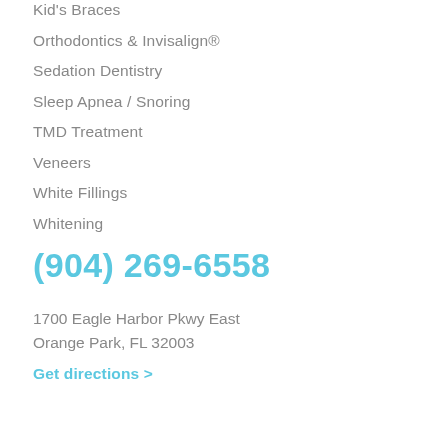Kid's Braces
Orthodontics & Invisalign®
Sedation Dentistry
Sleep Apnea / Snoring
TMD Treatment
Veneers
White Fillings
Whitening
(904) 269-6558
1700 Eagle Harbor Pkwy East
Orange Park, FL 32003
Get directions >